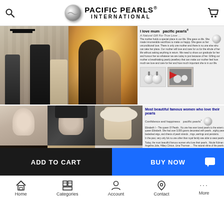PACIFIC PEARLS® INTERNATIONAL
[Figure (photo): Top banner: graduation photo collage on left (two women in graduation caps and gowns), romantic couple photo center, and 'I love mum pacific pearls®' article with pearl earring images on the right]
[Figure (photo): Bottom banner: collage of famous women including historical portrait (Queen Elizabeth I) and modern celebrities on left, 'Most beautiful famous women who love their pearls' text article with pearl logo on the right, overlaid with large 'CHAT' text watermark]
ADD TO CART
BUY NOW
Home   Categories   Account   Contact   More